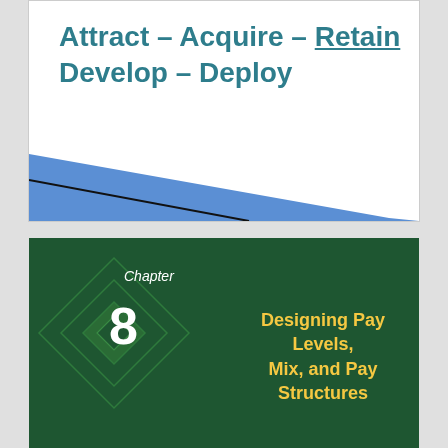Attract – Acquire – Retain – Develop – Deploy
[Figure (illustration): Blue decorative wave graphic at bottom of top slide panel]
Chapter
8
Designing Pay Levels, Mix, and Pay Structures
[Figure (illustration): Dark green chapter slide background with overlapping diamond/rhombus outline shapes in a lighter green]